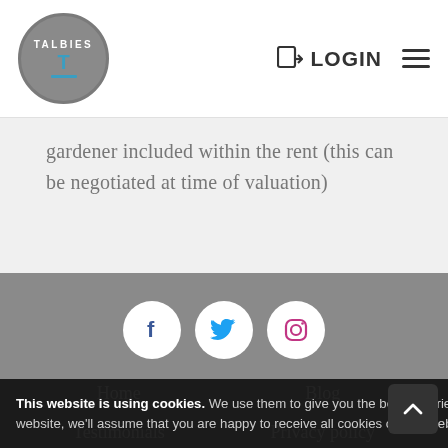[Figure (logo): Talbies logo: circular grey badge with 'TALBIES' text, teal T icon and horizontal bar]
LOGIN
gardener included within the rent (this can be negotiated at time of valuation)
[Figure (illustration): Social media icons: Facebook, Twitter, Instagram in white circles on grey footer]
Home
Blog
Testimonials
Privacy policy
This website is using cookies. We use them to give you the best experience. If you continue using our website, we'll assume that you are happy to receive all cookies on this website. Continue  Learn more